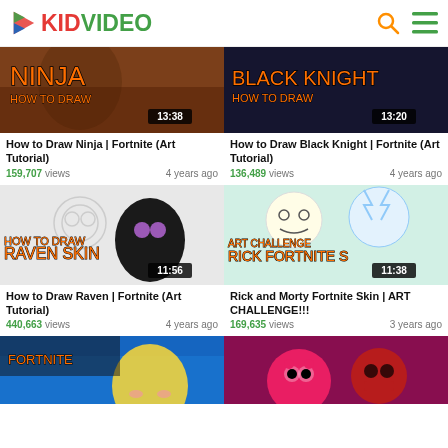KIDVIDEO
[Figure (screenshot): Ninja Fortnite drawing tutorial thumbnail, 13:38 duration]
How to Draw Ninja | Fortnite (Art Tutorial)
159,707 views   4 years ago
[Figure (screenshot): Black Knight Fortnite drawing tutorial thumbnail, 13:20 duration]
How to Draw Black Knight | Fortnite (Art Tutorial)
136,489 views   4 years ago
[Figure (screenshot): Raven Skin Fortnite drawing tutorial thumbnail, 11:56 duration]
How to Draw Raven | Fortnite (Art Tutorial)
440,663 views   4 years ago
[Figure (screenshot): Rick and Morty Fortnite Skin Art Challenge thumbnail, 11:38 duration]
Rick and Morty Fortnite Skin | ART CHALLENGE!!!
169,635 views   3 years ago
[Figure (screenshot): Pikachu Fortnite drawing thumbnail - partially visible]
[Figure (screenshot): Bear/Deadpool Fortnite drawing thumbnail - partially visible]